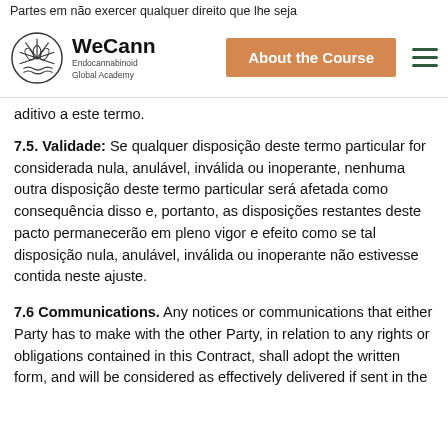Partes em não exercer qualquer direito que lhe seja
[Figure (logo): WeCann Endocannabinoid Global Academy logo with circular botanical emblem]
aditivo a este termo.
7.5. Validade: Se qualquer disposição deste termo particular for considerada nula, anulável, inválida ou inoperante, nenhuma outra disposição deste termo particular será afetada como consequência disso e, portanto, as disposições restantes deste pacto permanecerão em pleno vigor e efeito como se tal disposição nula, anulável, inválida ou inoperante não estivesse contida neste ajuste.
7.6 Communications. Any notices or communications that either Party has to make with the other Party, in relation to any rights or obligations contained in this Contract, shall adopt the written form, and will be considered as effectively delivered if sent in the